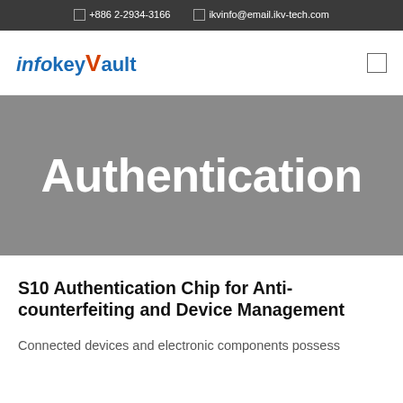☎ +886 2-2934-3166   ✉ ikvinfo@email.ikv-tech.com
[Figure (logo): InfokeyVault logo — 'info' in italic blue, 'key' in blue lowercase, 'V' in orange/red uppercase, 'ault' in blue lowercase]
Authentication
S10 Authentication Chip for Anti-counterfeiting and Device Management
Connected devices and electronic components possess